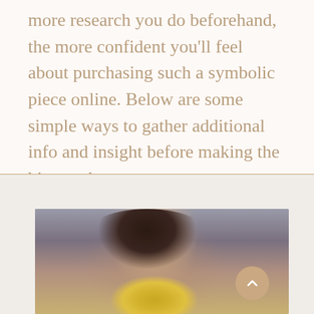more research you do beforehand, the more confident you'll feel about purchasing such a symbolic piece online. Below are some simple ways to gather additional info and insight before making the big purchase.
[Figure (photo): Portrait of a young woman with dark hair holding a golden/yellow spiky plant or flower in front of her face, blurred urban background]